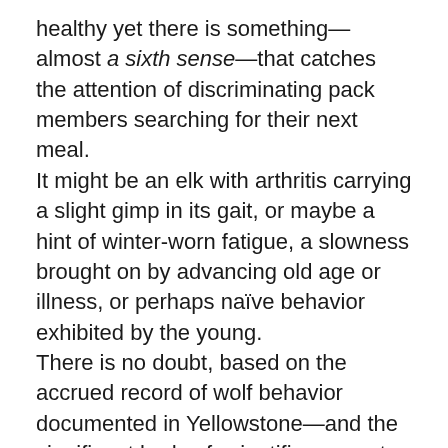healthy yet there is something—almost a sixth sense—that catches the attention of discriminating pack members searching for their next meal. It might be an elk with arthritis carrying a slight gimp in its gait, or maybe a hint of winter-worn fatigue, a slowness brought on by advancing old age or illness, or perhaps naïve behavior exhibited by the young. There is no doubt, based on the accrued record of wolf behavior documented in Yellowstone—and the significant body of scientific accounts logged across the continent—that under normal conditions, wolves key-in on prey that is meek, infirmed or vulnerable. “Wolves pick up on stuff we can't see. They are most efficient at exploiting weaknesses in prey because their survival depends on it,” Smith told me recently. “They are predisposed, by instinct and learned behavior, to focus